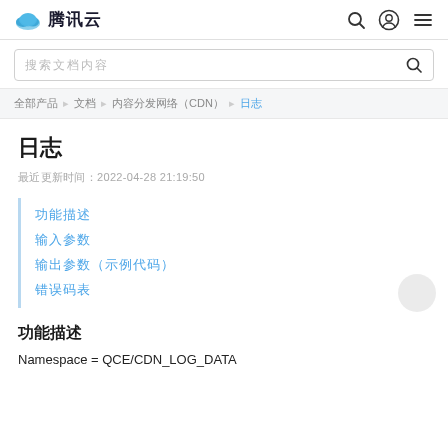腾讯云
搜索文档内容
全部产品 文档 内容分发网络（CDN） 日志
日志
最近更新时间：2022-04-28 21:19:50
功能描述
输入参数
输出参数（示例代码）
错误码表
功能描述
Namespace = QCE/CDN_LOG_DATA